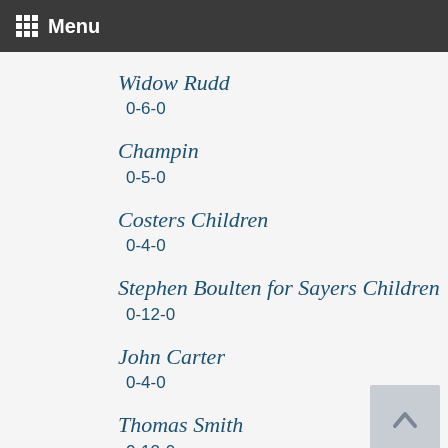Menu
Widow Rudd
0-6-0
Champin
0-5-0
Costers Children
0-4-0
Stephen Boulten for Sayers Children
0-12-0
John Carter
0-4-0
Thomas Smith
0-12-0